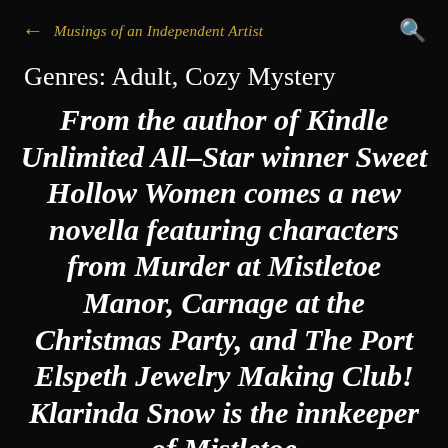← Musings of an Independent Artist 🔍
Genres: Adult, Cozy Mystery
From the author of Kindle Unlimited All–Star winner Sweet Hollow Women comes a new novella featuring characters from Murder at Mistletoe Manor, Carnage at the Christmas Party, and The Port Elspeth Jewelry Making Club! Klarinda Snow is the innkeeper of Mistletoe